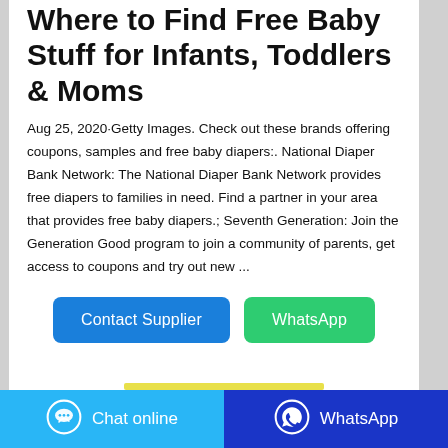Where to Find Free Baby Stuff for Infants, Toddlers & Moms
Aug 25, 2020·Getty Images. Check out these brands offering coupons, samples and free baby diapers:. National Diaper Bank Network: The National Diaper Bank Network provides free diapers to families in need. Find a partner in your area that provides free baby diapers.; Seventh Generation: Join the Generation Good program to join a community of parents, get access to coupons and try out new ...
[Figure (other): Two buttons: 'Contact Supplier' (blue) and 'WhatsApp' (green)]
Chat online | WhatsApp